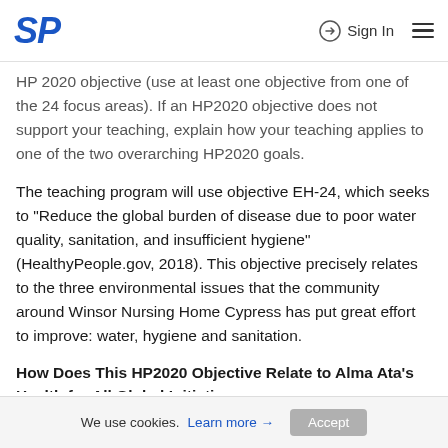SP | Sign In
HP 2020 objective (use at least one objective from one of the 24 focus areas). If an HP2020 objective does not support your teaching, explain how your teaching applies to one of the two overarching HP2020 goals.
The teaching program will use objective EH-24, which seeks to "Reduce the global burden of disease due to poor water quality, sanitation, and insufficient hygiene" (HealthyPeople.gov, 2018). This objective precisely relates to the three environmental issues that the community around Winsor Nursing Home Cypress has put great effort to improve: water, hygiene and sanitation.
How Does This HP2020 Objective Relate to Alma Ata's Health for All Global Initiatives
Objective EH-24 relates to Alma Ata's Declaration because first it...
We use cookies. Learn more → Accept